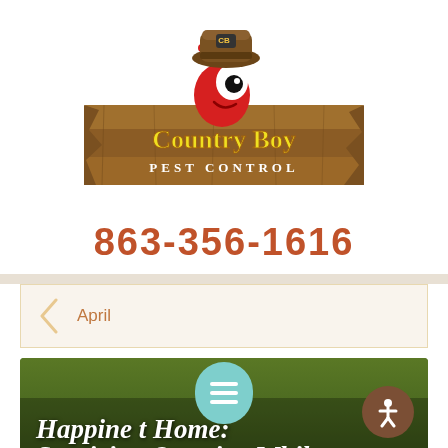[Figure (logo): Country Boy Pest Control logo: cartoon red bug wearing a brown cowboy hat with 'CB' on it, peeking over a rustic wooden plank sign with 'Country Boy Pest Control' text in yellow and white stylized lettering.]
863-356-1616
April
[Figure (photo): Background photo of green grass lawn, partially obscured by a hamburger menu icon (teal/turquoise color) and accessibility icon (brown circle with white person symbol).]
Happiness at Home: Surviving Quarantine While